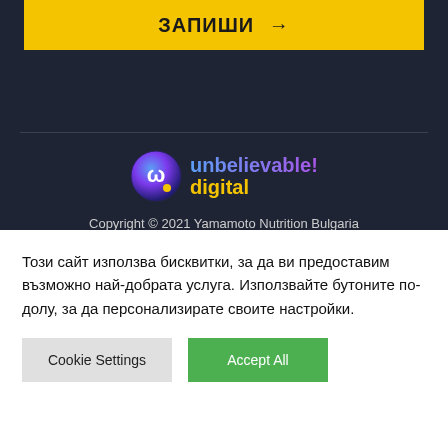ЗАПИШИ →
[Figure (logo): Unbelievable! Digital logo — circular gradient icon with 'up' lettermark, text 'unbelievable! digital' in blue/purple and yellow]
Copyright © 2021 Yamamoto Nutrition Bulgaria
Сайтът е изработен от Unbelievable.Digital
Този сайт използва бисквитки, за да ви предоставим възможно най-добрата услуга. Използвайте бутоните по-долу, за да персонализирате своите настройки.
Cookie Settings   Accept All